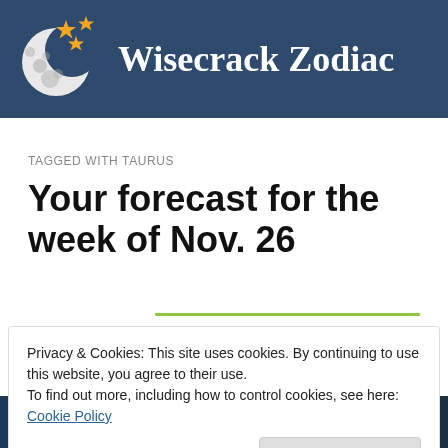Wisecrack Zodiac
TAGGED WITH TAURUS
Your forecast for the week of Nov. 26
Privacy & Cookies: This site uses cookies. By continuing to use this website, you agree to their use.
To find out more, including how to control cookies, see here: Cookie Policy
[Figure (photo): Bottom strip showing a night sky / zodiac themed image, partially visible]